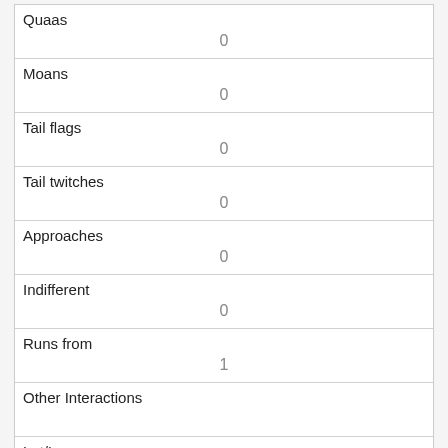| Quaas | 0 |
| Moans | 0 |
| Tail flags | 0 |
| Tail twitches | 0 |
| Approaches | 0 |
| Indifferent | 0 |
| Runs from | 1 |
| Other Interactions |  |
| Lat/Long | POINT (-73.9717515173863 40.7747999274418) |
| Link | 3329 |